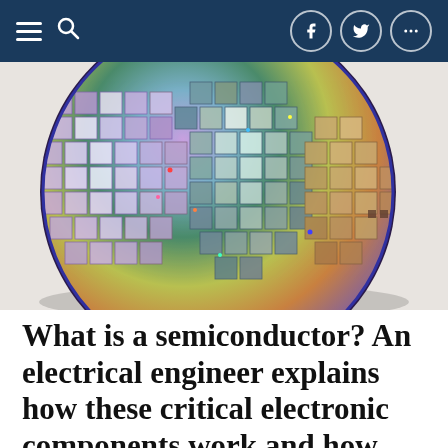Navigation bar with hamburger menu, search icon, and social media buttons (Facebook, Twitter, more)
[Figure (photo): A silicon semiconductor wafer photographed from above, showing a circular disc covered in a grid of individual chips/dies with iridescent rainbow-colored reflective surfaces in shades of purple, green, blue, and gold.]
What is a semiconductor? An electrical engineer explains how these critical electronic components work and how they are made